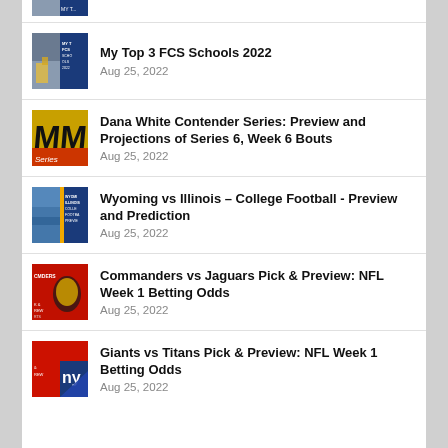[Figure (photo): Partial thumbnail image clipped at top of page]
My Top 3 FCS Schools 2022 — Aug 25, 2022
Dana White Contender Series: Preview and Projections of Series 6, Week 6 Bouts — Aug 25, 2022
Wyoming vs Illinois – College Football - Preview and Prediction — Aug 25, 2022
Commanders vs Jaguars Pick & Preview: NFL Week 1 Betting Odds — Aug 25, 2022
Giants vs Titans Pick & Preview: NFL Week 1 Betting Odds — Aug 25, 2022